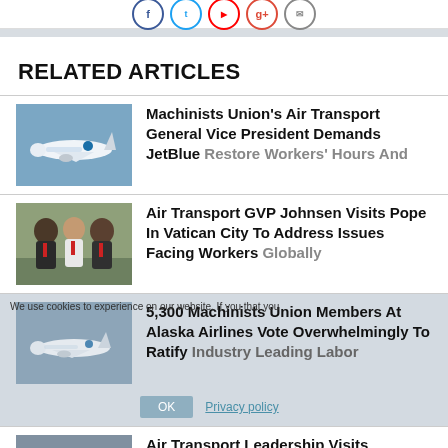[Figure (other): Social media icon buttons (Facebook, Twitter, YouTube, Google+, Email) shown as circular outlined icons at top]
RELATED ARTICLES
[Figure (photo): JetBlue aircraft in flight against blue sky]
Machinists Union's Air Transport General Vice President Demands JetBlue Restore Workers' Hours And
[Figure (photo): Three people posing for photo, wearing red lanyards]
Air Transport GVP Johnsen Visits Pope In Vatican City To Address Issues Facing Workers Globally
[Figure (photo): Alaska Airlines aircraft in flight]
5,300 Machinists Union Members At Alaska Airlines Vote Overwhelmingly To Ratify Industry Leading Labor
[Figure (photo): Partial view of another article thumbnail at bottom]
Air Transport Leadership Visits